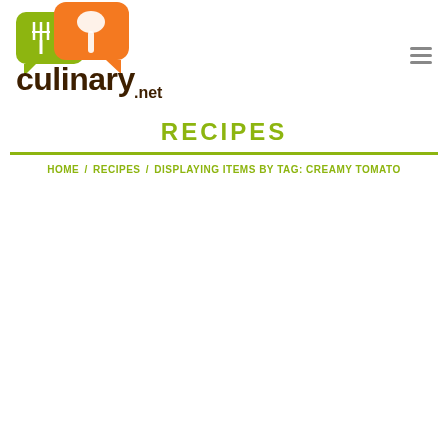[Figure (logo): Culinary.net logo with green fork chat bubble and orange spoon chat bubble above bold dark brown text 'culinary' with '.net' below]
RECIPES
HOME / RECIPES / DISPLAYING ITEMS BY TAG: CREAMY TOMATO